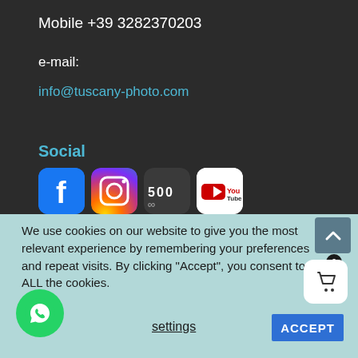Mobile +39 3282370203
e-mail:
info@tuscany-photo.com
Social
[Figure (logo): Facebook logo icon — blue square with white lowercase f]
[Figure (logo): Instagram logo icon — colorful gradient square with camera outline]
[Figure (logo): 500px logo icon — dark square with 500 and infinity symbol]
[Figure (logo): YouTube logo icon — white square with YouTube wordmark and red play button]
We use cookies on our website to give you the most relevant experience by remembering your preferences and repeat visits. By clicking “Accept”, you consent to ALL the cookies.
settings
ACCEPT